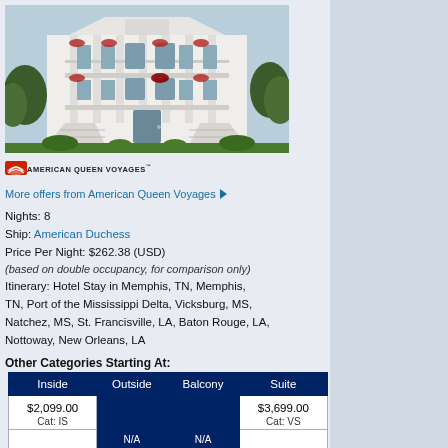[Figure (photo): White antebellum plantation house with columns, balconies decorated with red garlands, grand staircases on both sides, trees in background]
[Figure (logo): American Queen Voyages logo with red sun/wave icon and company name in capital letters]
More offers from American Queen Voyages ▶
Nights: 8
Ship: American Duchess
Price Per Night: $262.38 (USD)
(based on double occupancy, for comparison only)
Itinerary: Hotel Stay in Memphis, TN, Memphis, TN, Port of the Mississippi Delta, Vicksburg, MS, Natchez, MS, St. Francisville, LA, Baton Rouge, LA, Nottoway, New Orleans, LA
Other Categories Starting At:
| Inside | Outside | Balcony | Suite |
| --- | --- | --- | --- |
| $2,099.00
Cat: IS | N/A | N/A | $3,699.00
Cat: VS |